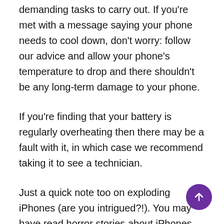demanding tasks to carry out. If you're met with a message saying your phone needs to cool down, don't worry: follow our advice and allow your phone's temperature to drop and there shouldn't be any long-term damage to your phone.
If you're finding that your battery is regularly overheating then there may be a fault with it, in which case we recommend taking it to see a technician.
Just a quick note too on exploding iPhones (are you intrigued?!). You may have read horror stories about iPhones exploding when they get too hot. These stories make great headlines, but while there have